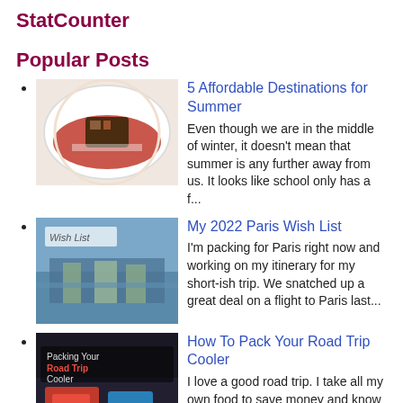StatCounter
Popular Posts
5 Affordable Destinations for Summer
Even though we are in the middle of winter, it doesn't mean that summer is any further away from us. It looks like school only has a f...
[Figure (photo): Photo of a dessert dish with red sauce]
My 2022 Paris Wish List
I'm packing for Paris right now and working on my itinerary for my short-ish trip. We snatched up a great deal on a flight to Paris last...
[Figure (photo): Photo of a Paris bridge over river with text overlay 'Wish List']
How To Pack Your Road Trip Cooler
I love a good road trip. I take all my own food to save money and know exactly what to pack in my cooler to have a good variety of meals
[Figure (photo): Photo with text 'Packing Your Road Trip Cooler']